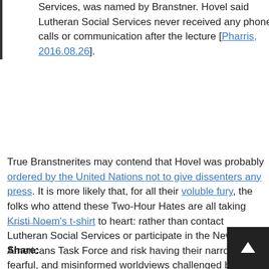...Hovel's employer, Lutheran Social Services, was named by Branstner. Hovel said Lutheran Social Services never received any phone calls or communication after the lecture [Pharris, 2016.08.26].
True Branstnerites may contend that Hovel was probably ordered by the United Nations not to give dissenters any press. It is more likely that, for all their voluble fury, the folks who attend these Two-Hour Hates are all taking Kristi Noem's t-shirt to heart: rather than contact Lutheran Social Services or participate in the New Americans Task Force and risk having their narrow, fearful, and misinformed worldviews challenged by plain fact, these angry folks would rather sit there in their wrongness, insulated by Branstner and Breitbart, and be grouchily, self-satisfiedly wrong.
Share: